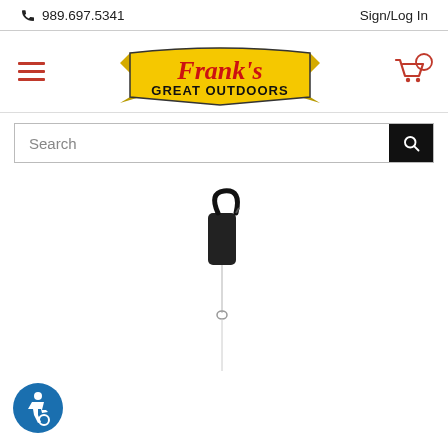989.697.5341   Sign/Log In
[Figure (logo): Frank's Great Outdoors logo — yellow banner ribbon with red script text 'Frank's' and bold text 'GREAT OUTDOORS' in black on yellow]
Search
[Figure (photo): Product photo: a black carabiner-style handle attached to a thin wire/cable leader, hanging vertically on white background]
[Figure (illustration): Accessibility icon — blue circle with wheelchair user symbol in white]